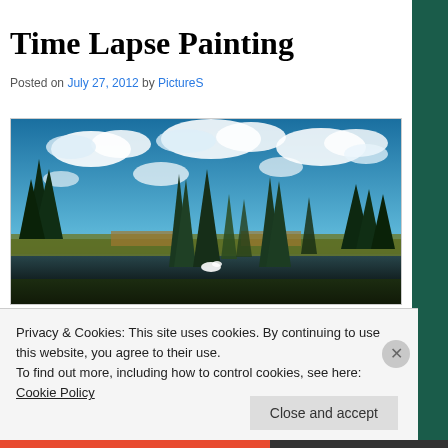Time Lapse Painting
Posted on July 27, 2012 by PictureS
[Figure (photo): A landscape oil painting depicting tall evergreen and cypress trees in the foreground with a lake or river, broad sky with dramatic white clouds on a blue sky background.]
Privacy & Cookies: This site uses cookies. By continuing to use this website, you agree to their use.
To find out more, including how to control cookies, see here: Cookie Policy
Close and accept